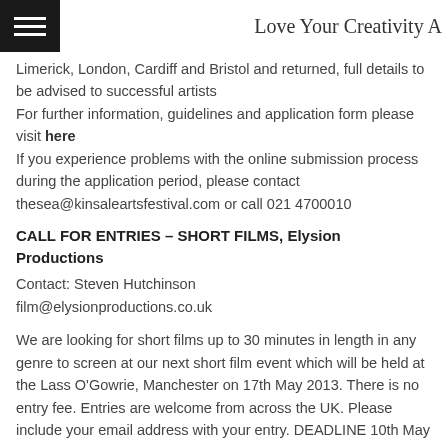Love Your Creativity A
Limerick, London, Cardiff and Bristol and returned, full details to be advised to successful artists
For further information, guidelines and application form please visit here
If you experience problems with the online submission process during the application period, please contact thesea@kinsaleartsfestival.com or call 021 4700010
CALL FOR ENTRIES – SHORT FILMS, Elysion Productions
Contact: Steven Hutchinson
film@elysionproductions.co.uk
We are looking for short films up to 30 minutes in length in any genre to screen at our next short film event which will be held at the Lass O'Gowrie, Manchester on 17th May 2013. There is no entry fee. Entries are welcome from across the UK. Please include your email address with your entry. DEADLINE 10th May 2013